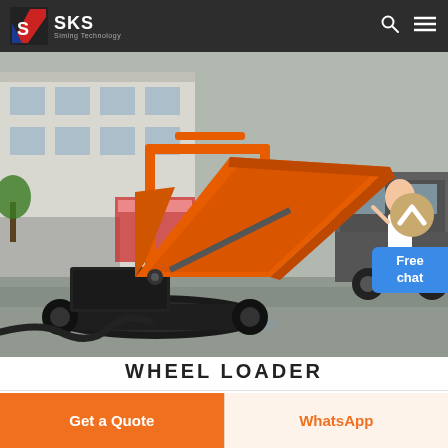SKS Siming Technology
[Figure (photo): Orange tracked mini dumper with raised dump bed, photographed in an industrial yard. The vehicle has rubber tracks and an orange steel dump box in the raised/tilting position. Background shows a factory building and a pickup truck. A woman figure appears in the upper right corner.]
WHEEL LOADER
Get a Quote
WhatsApp